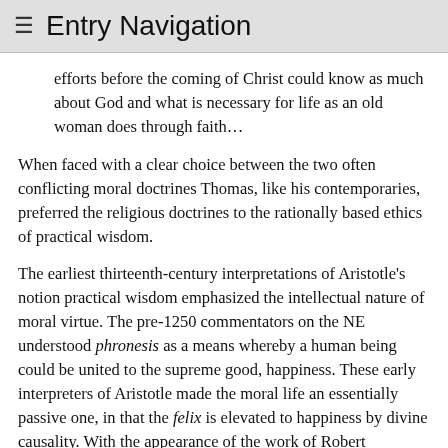≡ Entry Navigation
efforts before the coming of Christ could know as much about God and what is necessary for life as an old woman does through faith…
When faced with a clear choice between the two often conflicting moral doctrines Thomas, like his contemporaries, preferred the religious doctrines to the rationally based ethics of practical wisdom.
The earliest thirteenth-century interpretations of Aristotle's notion practical wisdom emphasized the intellectual nature of moral virtue. The pre-1250 commentators on the NE understood phronesis as a means whereby a human being could be united to the supreme good, happiness. These early interpreters of Aristotle made the moral life an essentially passive one, in that the felix is elevated to happiness by divine causality. With the appearance of the work of Robert Kilwardby, Albert the Great, and Thomas Aquinas a deeper understanding of Aristotle's moral thought infused the commentaries of the second half of the thirteenth century. The ethical…